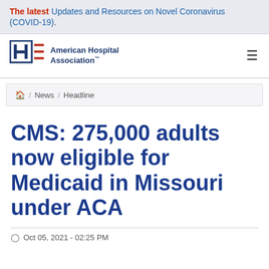The latest Updates and Resources on Novel Coronavirus (COVID-19).
[Figure (logo): American Hospital Association logo with stylized H and flag stripes, with hamburger menu icon]
🏠 / News / Headline
CMS: 275,000 adults now eligible for Medicaid in Missouri under ACA
Oct 05, 2021 - 02:25 PM